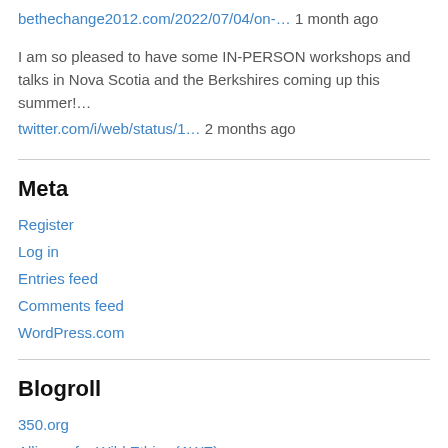bethechange2012.com/2022/07/04/on-… 1 month ago
I am so pleased to have some IN-PERSON workshops and talks in Nova Scotia and the Berkshires coming up this summer!…
twitter.com/i/web/status/1… 2 months ago
Meta
Register
Log in
Entries feed
Comments feed
WordPress.com
Blogroll
350.org
Alliance for Wild Ethics (AWE)